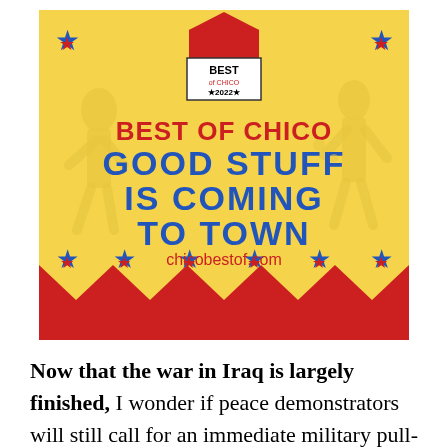[Figure (illustration): Best of Chico 2022 advertisement banner with circus theme. Yellow background with red and blue stars, circus tent silhouettes, acrobat silhouettes. Text reads: BEST OF CHICO — GOOD STUFF IS COMING TO TOWN — chicobestof.com. Red and yellow pennant banner at bottom.]
Now that the war in Iraq is largely finished, I wonder if peace demonstrators will still call for an immediate military pull-out from that